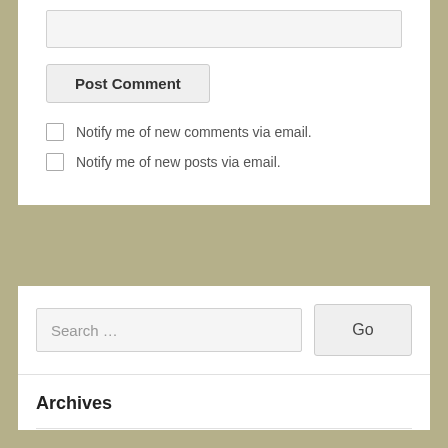[text input field]
Post Comment
Notify me of new comments via email.
Notify me of new posts via email.
Search …
Go
Archives
Select Month